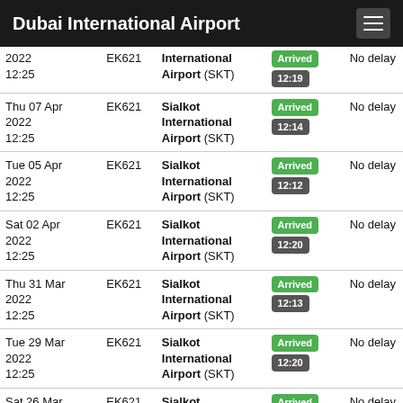Dubai International Airport
| Date | Flight | Destination | Status | Delay |
| --- | --- | --- | --- | --- |
| 2022 12:25 | EK621 | Sialkot International Airport (SKT) | Arrived 12:19 | No delay |
| Thu 07 Apr 2022 12:25 | EK621 | Sialkot International Airport (SKT) | Arrived 12:14 | No delay |
| Tue 05 Apr 2022 12:25 | EK621 | Sialkot International Airport (SKT) | Arrived 12:12 | No delay |
| Sat 02 Apr 2022 12:25 | EK621 | Sialkot International Airport (SKT) | Arrived 12:20 | No delay |
| Thu 31 Mar 2022 12:25 | EK621 | Sialkot International Airport (SKT) | Arrived 12:13 | No delay |
| Tue 29 Mar 2022 12:25 | EK621 | Sialkot International Airport (SKT) | Arrived 12:20 | No delay |
| Sat 26 Mar 2022 12:35 | EK621 | Sialkot International Airport (SKT) | Arrived 12:09 | No delay |